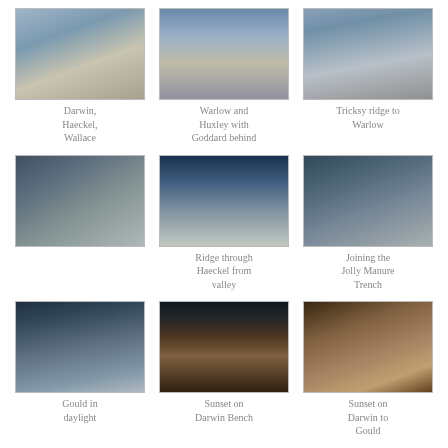[Figure (photo): Mountain landscape with lake - Darwin, Haeckel, Wallace]
Darwin, Haeckel, Wallace
[Figure (photo): Mountain peaks with lake - Warlow and Huxley with Goddard behind]
Warlow and Huxley with Goddard behind
[Figure (photo): Rocky ridge - Tricksy ridge to Warlow]
Tricksy ridge to Warlow
[Figure (photo): Mountain peak close-up view]
[Figure (photo): Ridge valley view - Ridge through Haeckel from valley]
Ridge through Haeckel from valley
[Figure (photo): Rocky terrain - Joining the Jolly Manure Trench]
Joining the Jolly Manure Trench
[Figure (photo): Mountain in daylight - Gould in daylight]
Gould in daylight
[Figure (photo): Sunset over lake - Sunset on Darwin Bench]
Sunset on Darwin Bench
[Figure (photo): Sunset on mountains - Sunset on Darwin to Gould]
Sunset on Darwin to Gould
[Figure (photo): Mountain at dusk/dawn]
[Figure (photo): Portrait photo of a person]